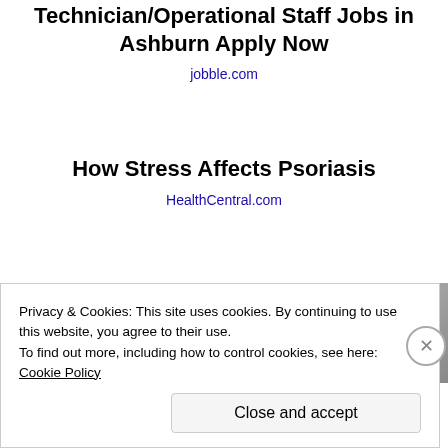Technician/Operational Staff Jobs in Ashburn Apply Now
jobble.com
How Stress Affects Psoriasis
HealthCentral.com
[Figure (other): Gray gradient rectangle partially visible at bottom right of page]
Privacy & Cookies: This site uses cookies. By continuing to use this website, you agree to their use.
To find out more, including how to control cookies, see here: Cookie Policy
Close and accept
[Figure (other): Blue banner image at bottom of page]